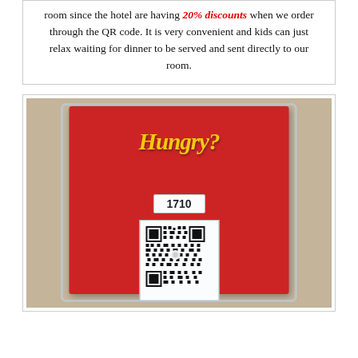room since the hotel are having 20% discounts when we order through the QR code. It is very convenient and kids can just relax waiting for dinner to be served and sent directly to our room.
[Figure (photo): Photo of a hotel room service card in a plastic holder mounted on a wall. The card has a red background with 'Hungry?' written in large yellow script lettering. Below that is a white label showing room number 1710, and below that a QR code sticker.]